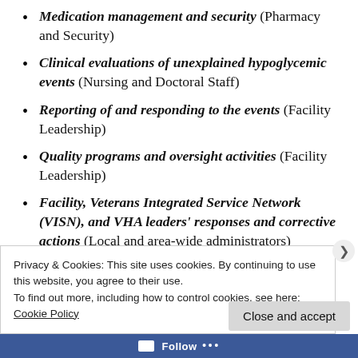Medication management and security (Pharmacy and Security)
Clinical evaluations of unexplained hypoglycemic events (Nursing and Doctoral Staff)
Reporting of and responding to the events (Facility Leadership)
Quality programs and oversight activities (Facility Leadership)
Facility, Veterans Integrated Service Network (VISN), and VHA leaders' responses and corrective actions (Local and area-wide administrators)
Privacy & Cookies: This site uses cookies. By continuing to use this website, you agree to their use.
To find out more, including how to control cookies, see here: Cookie Policy
Close and accept
Follow